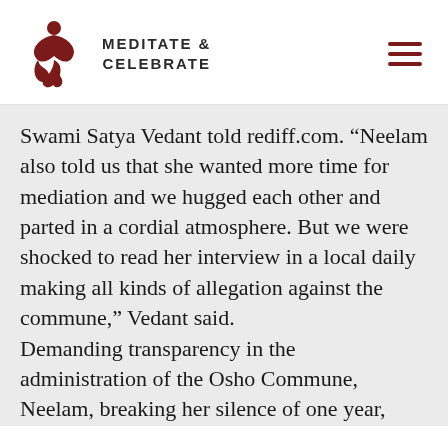MEDITATE & CELEBRATE
Swami Satya Vedant told rediff.com. “Neelam also told us that she wanted more time for mediation and we hugged each other and parted in a cordial atmosphere. But we were shocked to read her interview in a local daily making all kinds of allegation against the commune,” Vedant said.
Demanding transparency in the administration of the Osho Commune, Neelam, breaking her silence of one year,